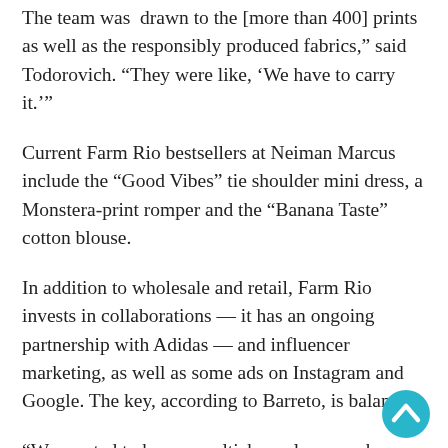The team was 'drawn to the [more than 400] prints as well as the responsibly produced fabrics,' said Todorovich. 'They were like, 'We have to carry it.''
Current Farm Rio bestsellers at Neiman Marcus include the “Good Vibes” tie shoulder mini dress, a Monstera-print romper and the “Banana Taste” cotton blouse.
In addition to wholesale and retail, Farm Rio invests in collaborations — it has an ongoing partnership with Adidas — and influencer marketing, as well as some ads on Instagram and Google. The key, according to Barreto, is balance.
“We wanted to have a multichannel approach [because] the customer is everywhere,” he said. “They’re not only online but they’re walking in the